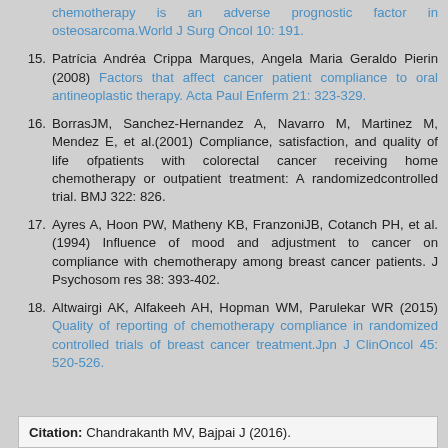(continued from previous page) chemotherapy is an adverse prognostic factor in osteosarcoma.World J Surg Oncol 10: 191.
15. Patrícia Andréa Crippa Marques, Angela Maria Geraldo Pierin (2008) Factors that affect cancer patient compliance to oral antineoplastic therapy. Acta Paul Enferm 21: 323-329.
16. BorrasJM, Sanchez-Hernandez A, Navarro M, Martinez M, Mendez E, et al.(2001) Compliance, satisfaction, and quality of life ofpatients with colorectal cancer receiving home chemotherapy or outpatient treatment: A randomizedcontrolled trial. BMJ 322: 826.
17. Ayres A, Hoon PW, Matheny KB, FranzoniJB, Cotanch PH, et al. (1994) Influence of mood and adjustment to cancer on compliance with chemotherapy among breast cancer patients. J Psychosom res 38: 393-402.
18. Altwairgi AK, Alfakeeh AH, Hopman WM, Parulekar WR (2015) Quality of reporting of chemotherapy compliance in randomized controlled trials of breast cancer treatment.Jpn J ClinOncol 45: 520-526.
Citation: Chandrakanth MV, Bajpai J (2016).